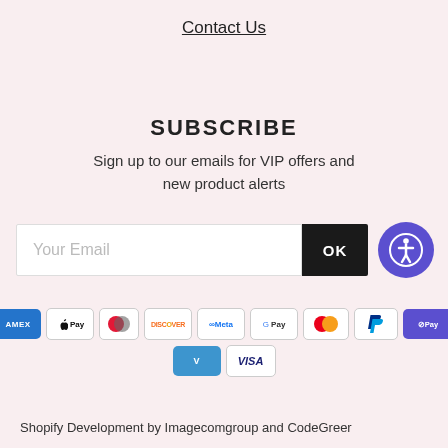Contact Us
SUBSCRIBE
Sign up to our emails for VIP offers and new product alerts
[Figure (infographic): Email subscription form with text input placeholder 'Your Email', a black OK button, and a purple accessibility icon button]
[Figure (infographic): Payment method icons: American Express, Apple Pay, Diners Club, Discover, Meta Pay, Google Pay, Mastercard, PayPal, Shop Pay, Venmo, Visa]
Shopify Development by Imagecomgroup and CodeGreer